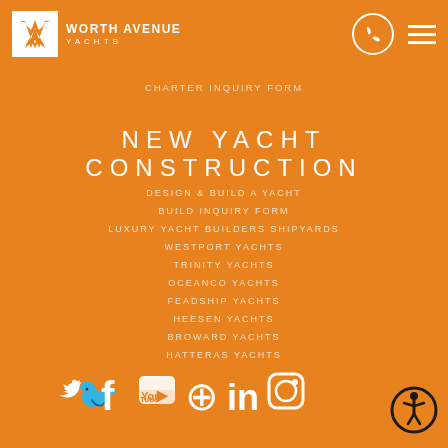[Figure (logo): Worth Avenue Yachts logo with W monogram in white box and text]
CHARTER INQUIRY FORM
NEW YACHT CONSTRUCTION
DESIGN & BUILD A YACHT
BUILD INQUIRY FORM
LUXURY YACHT BUILDERS SHIPYARDS
WESTPORT YACHTS
TRINITY YACHTS
OCEANCO YACHTS
FEADSHIP YACHTS
HEESEN YACHTS
BROWARD YACHTS
HATTERAS YACHTS
[Figure (infographic): Social media icons: Twitter, Facebook, YouTube, Pinterest, LinkedIn, Instagram and accessibility icon]